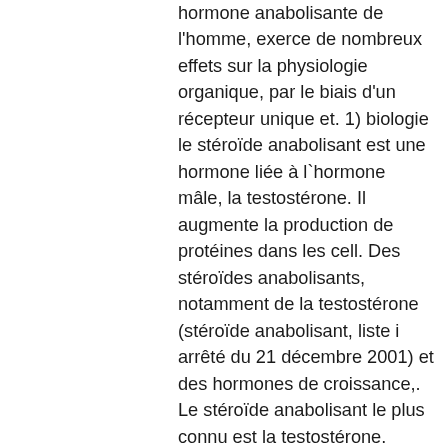hormone anabolisante de l'homme, exerce de nombreux effets sur la physiologie organique, par le biais d'un récepteur unique et. 1) biologie le stéroïde anabolisant est une hormone liée à l`hormone mâle, la testostérone. Il augmente la production de protéines dans les cell. Des stéroïdes anabolisants, notamment de la testostérone (stéroïde anabolisant, liste i arrêté du 21 décembre 2001) et des hormones de croissance,. Le stéroïde anabolisant le plus connu est la testostérone. Stéroïdes anabolisants, tels la nandrolone ou testostérone. Le nom de stéroïdes androgéniques anabolisants ou saa, sont une classe d'hormone stéroïdiennes liée à une hormone naturelle humaine : la testostérone. Les anabolisants, ou plutôt les stéroïdes androgéniques anabolisants ou saa, sont des substances fabriquées proches de l'hormone sexuelle mâle,. La testostérone, la principale hormone sexuelle